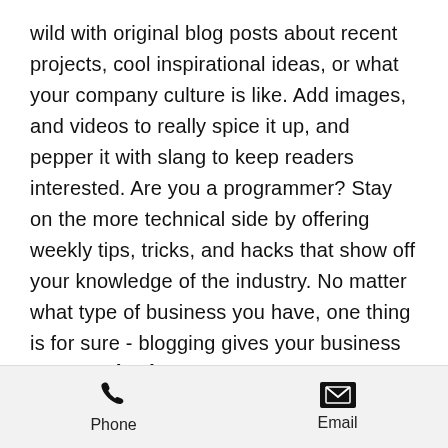wild with original blog posts about recent projects, cool inspirational ideas, or what your company culture is like. Add images, and videos to really spice it up, and pepper it with slang to keep readers interested. Are you a programmer? Stay on the more technical side by offering weekly tips, tricks, and hacks that show off your knowledge of the industry. No matter what type of business you have, one thing is for sure - blogging gives your business the opportunity to be heard in a way in a different and unconventional way.
Get Inspired
[Figure (infographic): Footer bar with phone icon and label 'Phone' on the left, and email envelope icon with label 'Email' on the right, on a light gray background.]